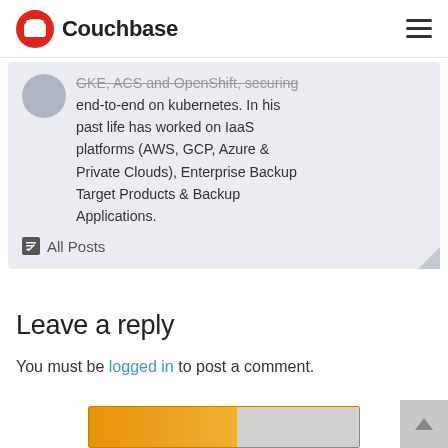Couchbase
GKE, ACS and OpenShift, securing end-to-end on kubernetes. In his past life has worked on IaaS platforms (AWS, GCP, Azure & Private Clouds), Enterprise Backup Target Products & Backup Applications.
All Posts
Leave a reply
You must be logged in to post a comment.
[Figure (other): Partial banner image with orange/yellow gradient and grey section, cropped at bottom of page]